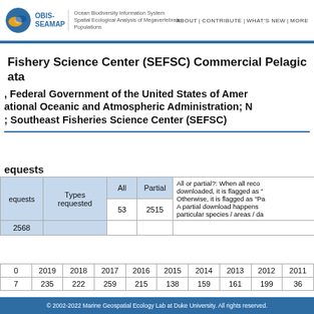OBIS-SEAMAP | Ocean Biodiversity Information System Spatial Ecological Analysis of Megavertebrate Populations | ABOUT | CONTRIBUTE | WHAT'S NEW | MORE
Fishery Science Center (SEFSC) Commercial Pelagic data
, Federal Government of the United States of America; National Oceanic and Atmospheric Administration; N; ; Southeast Fisheries Science Center (SEFSC)
requests
| requests | Types requested | All | Partial | All or partial? note |
| --- | --- | --- | --- | --- |
| 2568 |  | 53 | 2515 | All or partial?: When all records are downloaded, it is flagged as "All". Otherwise, it is flagged as "Partial". A partial download happens for particular species / areas / da... |
| 0 | 2019 | 2018 | 2017 | 2016 | 2015 | 2014 | 2013 | 2012 | 2011 |
| --- | --- | --- | --- | --- | --- | --- | --- | --- | --- |
| 7 | 235 | 222 | 259 | 215 | 138 | 159 | 161 | 199 | 36 |
© 2002-2022 Marine Geospatial Ecology Lab at Duke University. All rights reserved.